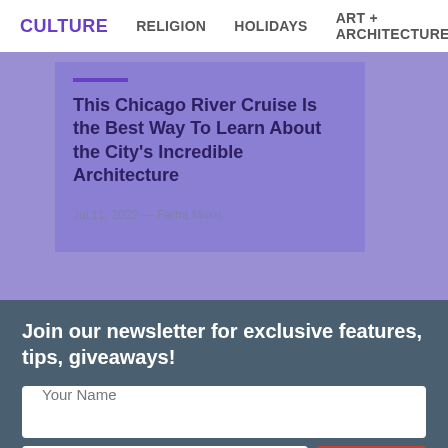CULTURE   RELIGION   HOLIDAYS   ART + ARCHITECTURE
This Chicago River Cruise Is the Best Way To Learn About the City's Incredible Architecture
Jul 11, 2022 — Farha Mukri
Join our newsletter for exclusive features, tips, giveaways!
Your Name
Your Email
Sign Up